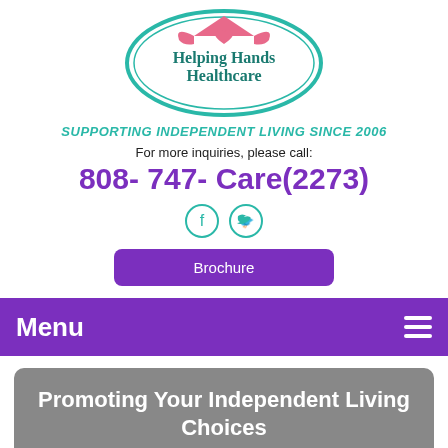[Figure (logo): Helping Hands Healthcare oval logo with teal border, pink house/hands icon, and teal/dark teal text 'Helping Hands Healthcare']
SUPPORTING INDEPENDENT LIVING SINCE 2006
For more inquiries, please call:
808- 747- Care(2273)
[Figure (other): Facebook and Twitter social media icon circles in teal]
Brochure
Menu
Promoting Your Independent Living Choices